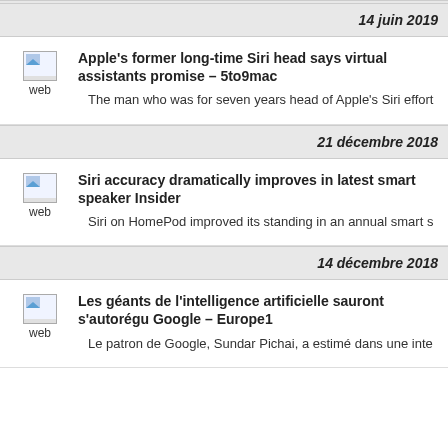14 juin 2019
Apple's former long-time Siri head says virtual assistants promise – 5to9mac
The man who was for seven years head of Apple's Siri effort
21 décembre 2018
Siri accuracy dramatically improves in latest smart speaker – Insider
Siri on HomePod improved its standing in an annual smart s
14 décembre 2018
Les géants de l'intelligence artificielle sauront s'autorégu Google – Europe1
Le patron de Google, Sundar Pichai, a estimé dans une inte